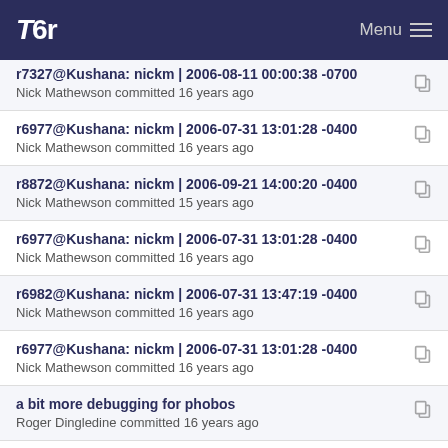Tor — Menu
r7327@Kushana: nickm | 2006-08-11 00:00:38 -0700
Nick Mathewson committed 16 years ago
r6977@Kushana: nickm | 2006-07-31 13:01:28 -0400
Nick Mathewson committed 16 years ago
r8872@Kushana: nickm | 2006-09-21 14:00:20 -0400
Nick Mathewson committed 15 years ago
r6977@Kushana: nickm | 2006-07-31 13:01:28 -0400
Nick Mathewson committed 16 years ago
r6982@Kushana: nickm | 2006-07-31 13:47:19 -0400
Nick Mathewson committed 16 years ago
r6977@Kushana: nickm | 2006-07-31 13:01:28 -0400
Nick Mathewson committed 16 years ago
a bit more debugging for phobos
Roger Dingledine committed 16 years ago